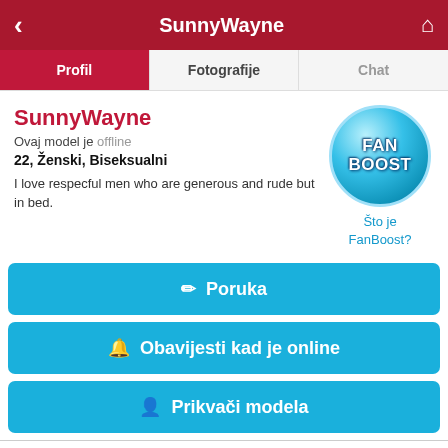SunnyWayne
Profil | Fotografije | Chat
SunnyWayne
Ovaj model je offline
22, Ženski, Biseksualni
I love respecful men who are generous and rude but in bed.
[Figure (logo): FanBoost circular badge with blue radial gradient and bold white text reading FAN BOOST]
Što je FanBoost?
✎ Poruka
🔔 Obavijesti kad je online
🔍 Prikvači modela
O meni
22, Ženski, Biseksualni
Latino, Latina
Engleski, Španjolski